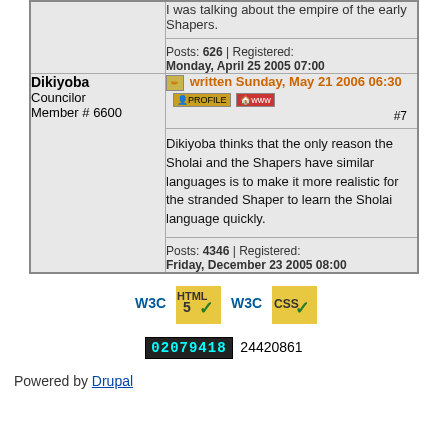| User | Post |
| --- | --- |
|  | I was talking about the empire of the early Shapers.
Posts: 626 | Registered: Monday, April 25 2005 07:00 |
| Dikiyoba
Councilor
Member # 6600 | written Sunday, May 21 2006 06:30 #7
Dikiyoba thinks that the only reason the Sholai and the Shapers have similar languages is to make it more realistic for the stranded Shaper to learn the Sholai language quickly.
Posts: 4346 | Registered: Friday, December 23 2005 08:00 |
[Figure (logo): W3C HTML5 valid badge]
[Figure (logo): W3C CSS valid badge]
02079418  24420861
Powered by Drupal